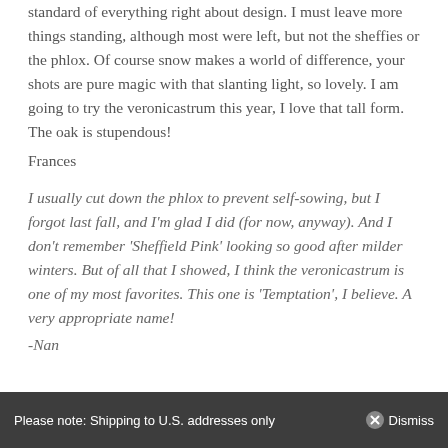standard of everything right about design. I must leave more things standing, although most were left, but not the sheffies or the phlox. Of course snow makes a world of difference, your shots are pure magic with that slanting light, so lovely. I am going to try the veronicastrum this year, I love that tall form. The oak is stupendous!
Frances
I usually cut down the phlox to prevent self-sowing, but I forgot last fall, and I'm glad I did (for now, anyway). And I don't remember 'Sheffield Pink' looking so good after milder winters. But of all that I showed, I think the veronicastrum is one of my most favorites. This one is 'Temptation', I believe. A very appropriate name!
-Nan
Please note: Shipping to U.S. addresses only   Dismiss